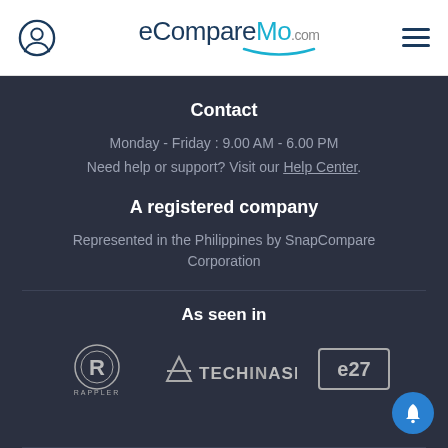eCompareMo.com
Contact
Monday - Friday : 9.00 AM - 6.00 PM
Need help or support? Visit our Help Center.
A registered company
Represented in the Philippines by SnapCompare Corporation
As seen in
[Figure (logo): Rappler logo - circular R mark with RAPPLER text below]
[Figure (logo): Tech in Asia logo - TA arrow mark with TECHINASIA text]
[Figure (logo): e27 logo - lowercase e27 in a rectangle box]